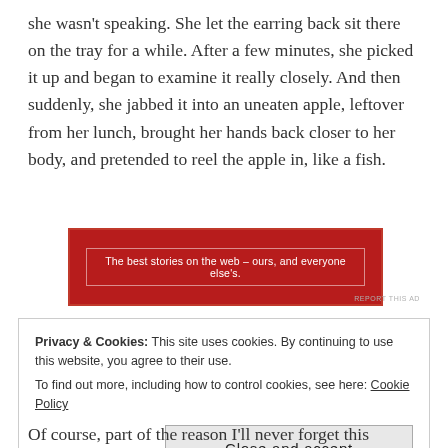she wasn't speaking. She let the earring back sit there on the tray for a while. After a few minutes, she picked it up and began to examine it really closely. And then suddenly, she jabbed it into an uneaten apple, leftover from her lunch, brought her hands back closer to her body, and pretended to reel the apple in, like a fish.
[Figure (other): Red advertisement banner with white text reading: The best stories on the web – ours, and everyone else's.]
REPORT THIS AD
Privacy & Cookies: This site uses cookies. By continuing to use this website, you agree to their use.
To find out more, including how to control cookies, see here: Cookie Policy
Close and accept
Of course, part of the reason I'll never forget this